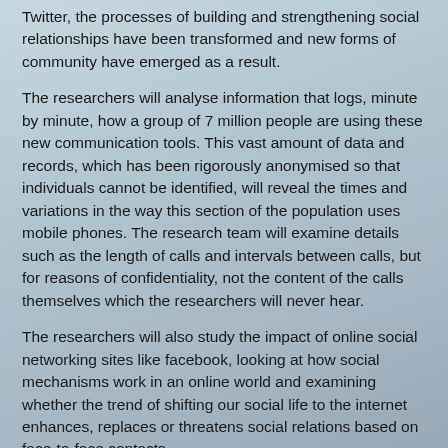Twitter, the processes of building and strengthening social relationships have been transformed and new forms of community have emerged as a result.
The researchers will analyse information that logs, minute by minute, how a group of 7 million people are using these new communication tools. This vast amount of data and records, which has been rigorously anonymised so that individuals cannot be identified, will reveal the times and variations in the way this section of the population uses mobile phones. The research team will examine details such as the length of calls and intervals between calls, but for reasons of confidentiality, not the content of the calls themselves which the researchers will never hear.
The researchers will also study the impact of online social networking sites like facebook, looking at how social mechanisms work in an online world and examining whether the trend of shifting our social life to the internet enhances, replaces or threatens social relations based on face-to-face contacts.